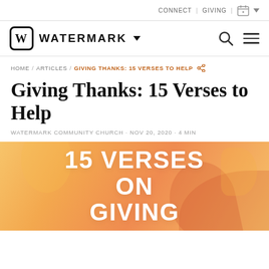CONNECT | GIVING |
WATERMARK
HOME / ARTICLES / GIVING THANKS: 15 VERSES TO HELP
Giving Thanks: 15 Verses to Help
WATERMARK COMMUNITY CHURCH · NOV 20, 2020 · 4 MIN
[Figure (illustration): Orange and yellow warm-toned gradient background with decorative shapes, displaying white bold text '15 VERSES ON GIVING']